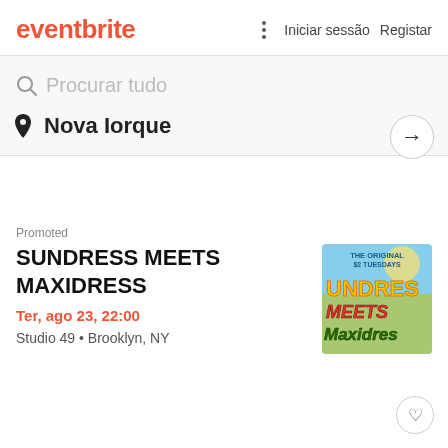eventbrite  ⋮  Iniciar sessão  Registar
Procurar tudo
Nova Iorque
Promoted
SUNDRESS MEETS MAXIDRESS
Ter, ago 23, 22:00
Studio 49 • Brooklyn, NY
[Figure (photo): Event promotional image for SUNDRESS MEETS MAXIDRESS showing colorful text on a tropical background with text 'THE ORIGINAL $2 TUESDAYS SUNDRES MEETS Maxidres']